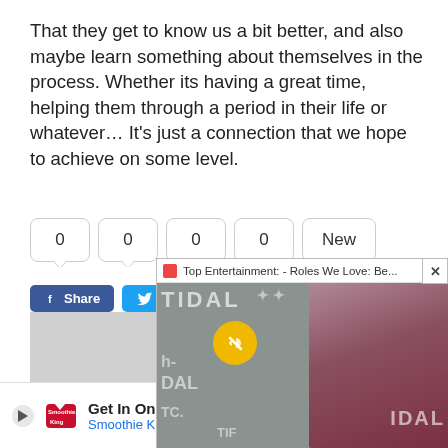That they get to know us a bit better, and also maybe learn something about themselves in the process. Whether its having a great time, helping them through a period in their life or whatever… It's just a connection that we hope to achieve on some level.
[Figure (screenshot): Social sharing buttons with 0 counters (Facebook Share, Tweet, LinkedIn Share) and a popup video overlay showing 'Top Entertainment: - Roles We Love: Be...' with a woman in a dark red dress at a TIDAL event, a yellow mute button, and a gray background with TIDAL branding text]
[Figure (screenshot): Ad banner at the bottom: 'Get In On The Buzz - Smoothie King' with logo, play button, blue arrow button, and X close button]